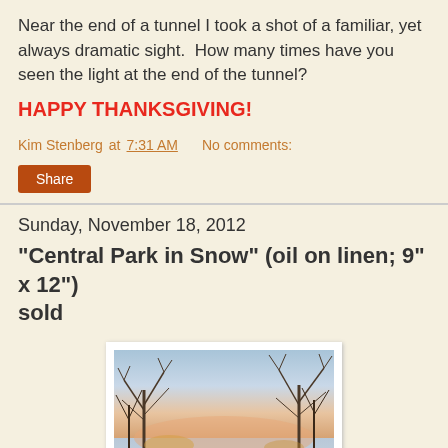Near the end of a tunnel I took a shot of a familiar, yet always dramatic sight.  How many times have you seen the light at the end of the tunnel?
HAPPY THANKSGIVING!
Kim Stenberg at 7:31 AM   No comments:
Share
Sunday, November 18, 2012
"Central Park in Snow" (oil on linen; 9" x 12") sold
[Figure (photo): Oil painting of Central Park in snow, showing bare winter trees against a twilight sky with snow on the ground]